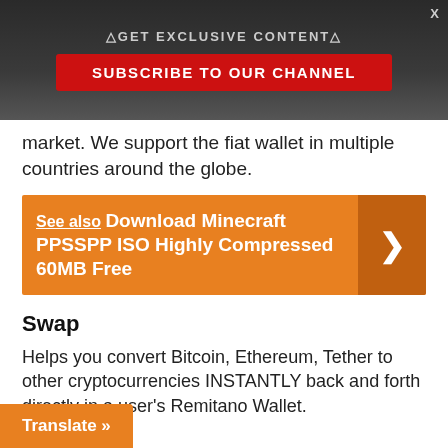△GET EXCLUSIVE CONTENT△
SUBSCRIBE TO OUR CHANNEL
market. We support the fiat wallet in multiple countries around the globe.
See also  Download Minecraft PPSSPP ISO Highly Compressed 60MB Free
Swap
Helps you convert Bitcoin, Ethereum, Tether to other cryptocurrencies INSTANTLY back and forth directly in a user's Remitano Wallet.
Invest
Help you securely invest in multiple altcoins like c (ETC), Binance Coin (BNB), Cardano